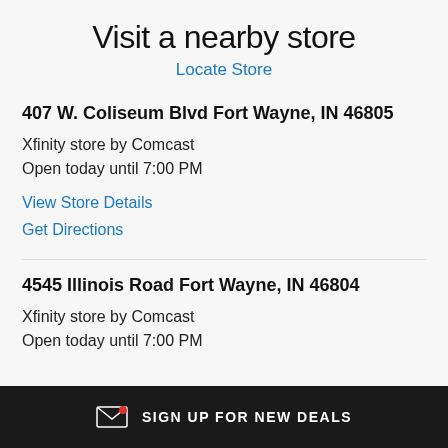Visit a nearby store
Locate Store
407 W. Coliseum Blvd Fort Wayne, IN 46805
Xfinity store by Comcast
Open today until 7:00 PM
View Store Details
Get Directions
4545 Illinois Road Fort Wayne, IN 46804
Xfinity store by Comcast
Open today until 7:00 PM
SIGN UP FOR NEW DEALS